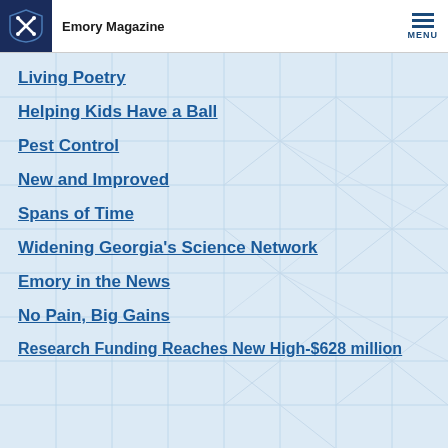Emory Magazine
Living Poetry
Helping Kids Have a Ball
Pest Control
New and Improved
Spans of Time
Widening Georgia's Science Network
Emory in the News
No Pain, Big Gains
Research Funding Reaches New High-$628 million